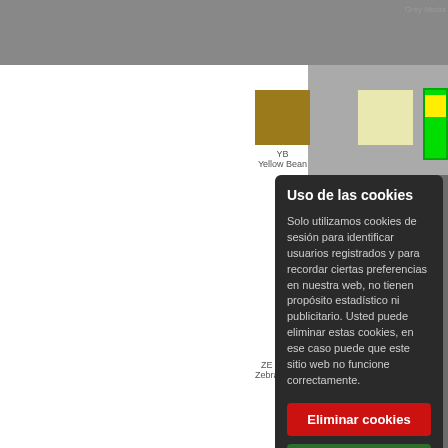[Figure (photo): Grayscale close-up photo of dark fabric/textile texture filling the background of the page]
Grey Media
[Figure (illustration): Color swatch square for Yellow Bean (YB), golden-brown color, with code YB and name Yellow Bean below]
YB
Yellow Bean
[Figure (illustration): Partial light yellow color swatch visible]
[Figure (illustration): Partial bright green/yellow color swatch visible at right edge]
ZE
Zebra
Copyright © 2014-2018 Activewear
Uso de las cookies
Solo utilizamos cookies de sesión para identificar usuarios registrados y para recordar ciertas preferencias en nuestra web, no tienen propósito estadístico ni publicitario. Usted puede eliminar estas cookies, en ese caso puede que este sitio web no funcione correctamente.
Eliminar cookies
Aceptar